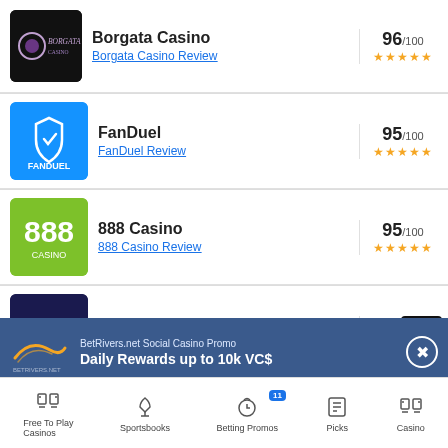Borgata Casino – 96/100 ★★★★★ – Borgata Casino Review
FanDuel – 95/100 ★★★★★ – FanDuel Review
888 Casino – 95/100 ★★★★★ – 888 Casino Review
PartyCasino – 94/100 ★★★★★ – PartyCasino Review
[Figure (screenshot): BetRivers.net ad banner: BetRivers.net Social Casino Promo – Daily Rewards up to 10k VC$]
BetRivers.net Social Casino Promo
Daily Rewards up to 10k VC$
Free To Play Casinos | Sportsbooks | Betting Promos (11) | Picks | Casino